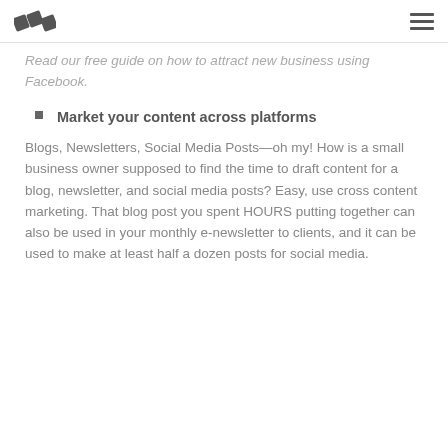Read our free guide on how to attract new business using Facebook.
Market your content across platforms
Blogs, Newsletters, Social Media Posts—oh my! How is a small business owner supposed to find the time to draft content for a blog, newsletter, and social media posts? Easy, use cross content marketing. That blog post you spent HOURS putting together can also be used in your monthly e-newsletter to clients, and it can be used to make at least half a dozen posts for social media.